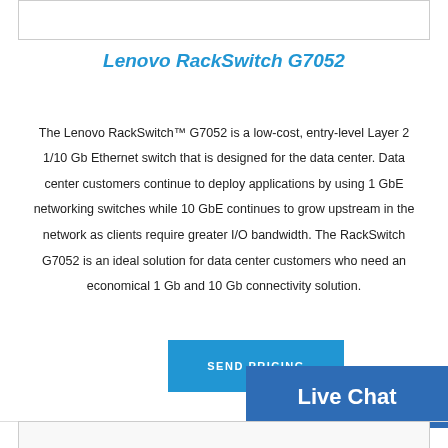Lenovo RackSwitch G7052
The Lenovo RackSwitch™ G7052 is a low-cost, entry-level Layer 2 1/10 Gb Ethernet switch that is designed for the data center. Data center customers continue to deploy applications by using 1 GbE networking switches while 10 GbE continues to grow upstream in the network as clients require greater I/O bandwidth. The RackSwitch G7052 is an ideal solution for data center customers who need an economical 1 Gb and 10 Gb connectivity solution.
[Figure (other): Blue 'SEND PRICING' button and 'Live Chat' widget overlay in blue]
[Figure (screenshot): Partial bottom bar of the webpage]